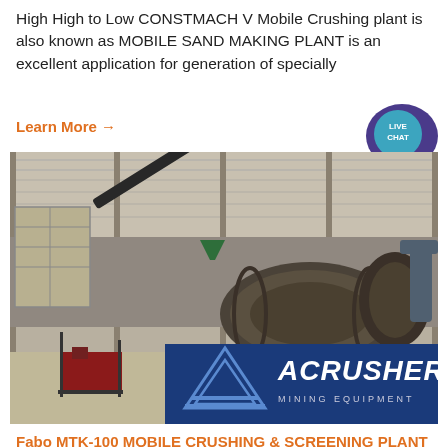High High to Low CONSTMACH V Mobile Crushing plant is also known as MOBILE SAND MAKING PLANT is an excellent application for generation of specially
Learn More →
[Figure (photo): Industrial mobile crushing plant equipment under a covered roof structure with a large rotating drum/cylinder machine, conveyor belt, red motor, and container tank visible. ACRUSHER Mining Equipment logo overlaid at bottom right.]
Fabo MTK-100 MOBILE CRUSHING & SCREENING PLANT – SAND